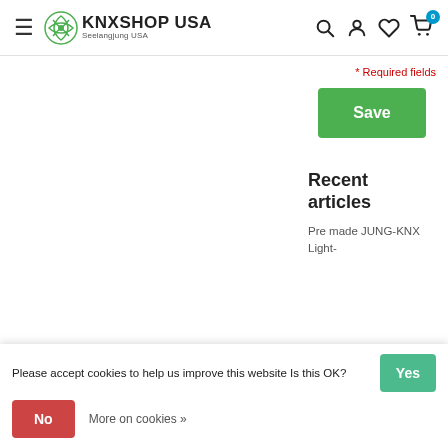KNXSHOP USA — Seelangjung USA — navigation header with hamburger menu, search, account, wishlist, cart icons
* Required fields
Save
Recent articles
Pre made JUNG-KNX Light-
Please accept cookies to help us improve this website Is this OK?
Yes
No
More on cookies »